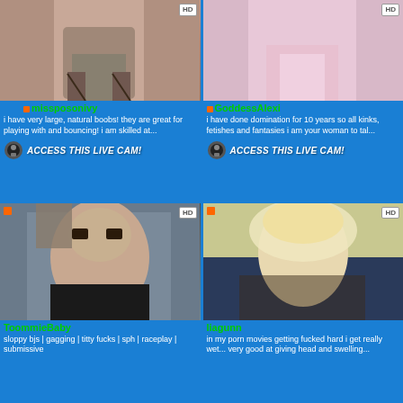[Figure (photo): Top-left cam card photo: person in lingerie/stockings]
missposonivy
i have very large, natural boobs! they are great for playing with and bouncing! i am skilled at...
ACCESS THIS LIVE CAM!
[Figure (photo): Top-right cam card photo: person in pink skirt]
GoddessAlexi
i have done domination for 10 years so all kinks, fetishes and fantasies i am your woman to tal...
ACCESS THIS LIVE CAM!
[Figure (photo): Bottom-left cam card photo: woman with glasses in black top]
ToommieBaby
sloppy bjs | gagging | titty fucks | sph | raceplay | submissive
[Figure (photo): Bottom-right cam card photo: blonde woman]
liagunn
in my porn movies getting fucked hard i get really wet... very good at giving head and swelling...